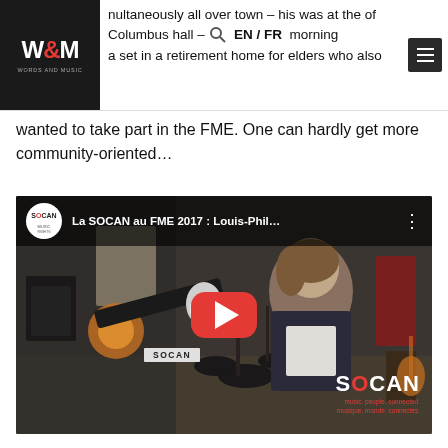W&M Words and Music — EN/FR navigation header
multaneously all over town – his was at the of Columbus hall – at the na/r morning a set in a retirement home for elders who also wanted to take part in the FME. One can hardly get more community-oriented…
[Figure (screenshot): YouTube video embed: 'La SOCAN au FME 2017 : Louis-Phil…' showing a person being interviewed with a SOCAN microphone in a music rehearsal space with drum kit and instruments visible. SOCAN logo and branding visible. Red YouTube play button overlay.]